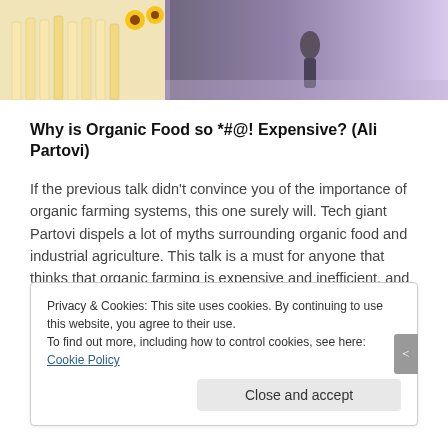[Figure (photo): A photo strip showing a white picket fence with sunflowers on the left and a stage/performance scene with purple lighting on the right]
Why is Organic Food so *#@! Expensive? (Ali Partovi)
If the previous talk didn't convince you of the importance of organic farming systems, this one surely will. Tech giant Partovi dispels a lot of myths surrounding organic food and industrial agriculture. This talk is a must for anyone that thinks that organic farming is expensive and inefficient, and that industrial agriculture is necessary to feed the world.
Privacy & Cookies: This site uses cookies. By continuing to use this website, you agree to their use.
To find out more, including how to control cookies, see here: Cookie Policy